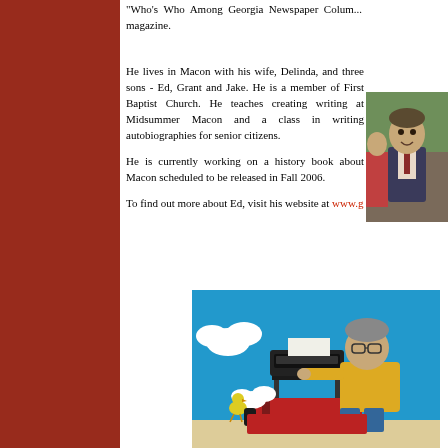"Who's Who Among Georgia Newspaper Columnists" magazine.
[Figure (photo): Photo of a man, likely Ed, in a suit with partial view of another person]
He lives in Macon with his wife, Delinda, and three sons - Ed, Grant and Jake. He is a member of First Baptist Church. He teaches creating writing at Midsummer Macon and a class in writing autobiographies for senior citizens.
He is currently working on a history book about Macon scheduled to be released in Fall 2006.
To find out more about Ed, visit his website at www.g...
[Figure (illustration): Cartoon illustration of a man in yellow shirt typing at a typewriter on a red doghouse, with Woodstock bird nearby, in Peanuts/Snoopy style, on blue background]